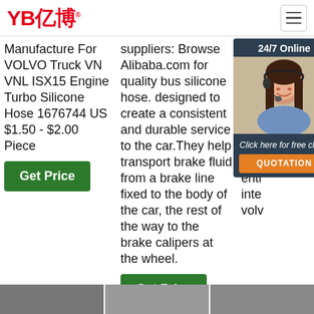YB亿博 [logo]
Manufacture For VOLVO Truck VN VNL ISX15 Engine Turbo Silicone Hose 1676744 US $1.50 - $2.00 Piece
Get Price
suppliers: Browse Alibaba.com for quality bus silicone hose. designed to create a consistent and durable service to the car.They help transport brake fluid from a brake line fixed to the body of the car, the rest of the way to the brake calipers at the wheel.
Get Price
features heatproof and inte voly you requ com pric enti inte volv
[Figure (photo): Customer service agent / chat popup with 24/7 Online header, photo of smiling woman with headset, 'Click here for free chat!' text, and QUOTATION orange button]
Get Price
[Figure (illustration): TOP icon with orange dots arranged in arc above the word TOP in orange text]